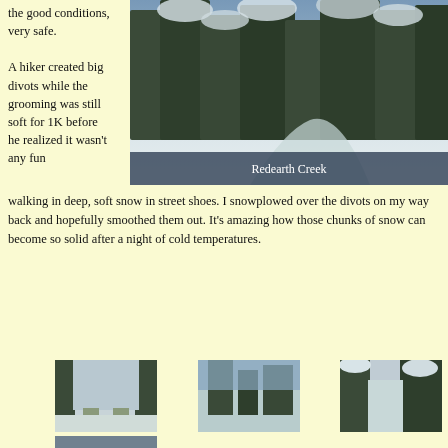the good conditions, very safe.
[Figure (photo): Snow-covered evergreen trees along a ski trail at Redearth Creek]
Redearth Creek
A hiker created big divots while the grooming was still soft for 1K before he realized it wasn't any fun walking in deep, soft snow in street shoes. I snowplowed over the divots on my way back and hopefully smoothed them out. It's amazing how those chunks of snow can become so solid after a night of cold temperatures.
[Figure (photo): Ski trail through snowy forest - view 1]
[Figure (photo): Ski trail through snowy forest - view 2]
[Figure (photo): Ski trail through snowy forest - view 3]
[Figure (photo): Ski tips on groomed trail]
[Figure (photo): Snowy forest trail winter scene]
[Figure (photo): Ski trail in winter forest]
[Figure (photo): Snowy trail partial view 1]
[Figure (photo): Snowy trail partial view 2]
[Figure (photo): Snowy trail partial view 3]